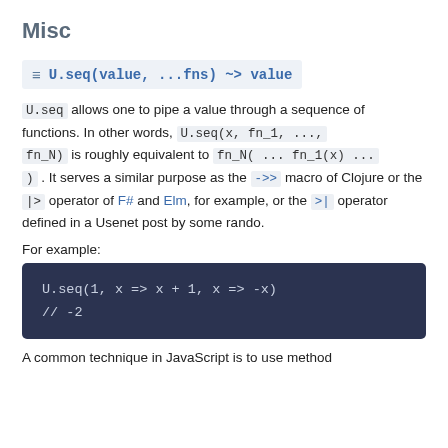Misc
U.seq(value, ...fns) ~> value
U.seq allows one to pipe a value through a sequence of functions. In other words, U.seq(x, fn_1, ..., fn_N) is roughly equivalent to fn_N( ... fn_1(x) ... ) . It serves a similar purpose as the ->> macro of Clojure or the |> operator of F# and Elm, for example, or the >| operator defined in a Usenet post by some rando.
For example:
U.seq(1, x => x + 1, x => -x)
// -2
A common technique in JavaScript is to use method